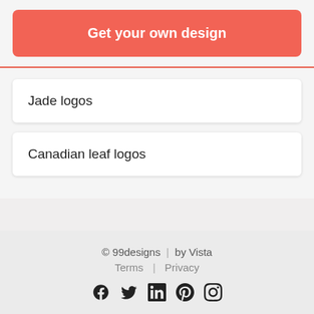Get your own design
Jade logos
Canadian leaf logos
© 99designs  |  by Vista
Terms  |  Privacy